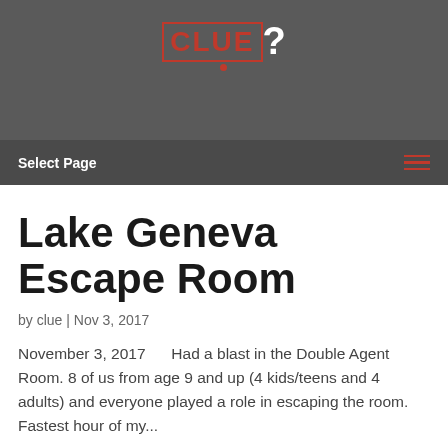[Figure (logo): Clue escape room logo with red text block and white question mark]
Select Page
Lake Geneva Escape Room
by clue | Nov 3, 2017
November 3, 2017      Had a blast in the Double Agent Room. 8 of us from age 9 and up (4 kids/teens and 4 adults) and everyone played a role in escaping the room. Fastest hour of my...